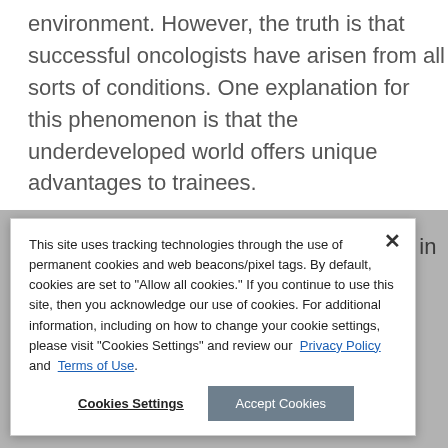environment. However, the truth is that successful oncologists have arisen from all sorts of conditions. One explanation for this phenomenon is that the underdeveloped world offers unique advantages to trainees.

The hurdles that oncology trainees face in constrained-resource settings are exemplified in this
This site uses tracking technologies through the use of permanent cookies and web beacons/pixel tags. By default, cookies are set to "Allow all cookies." If you continue to use this site, then you acknowledge our use of cookies. For additional information, including on how to change your cookie settings, please visit "Cookies Settings" and review our Privacy Policy and Terms of Use.